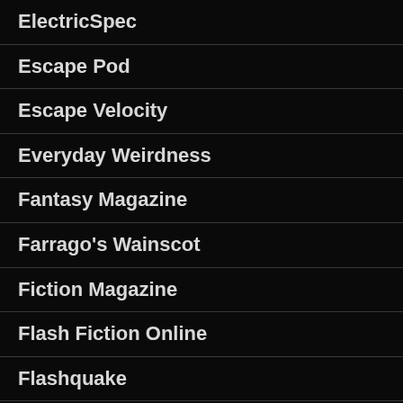ElectricSpec
Escape Pod
Escape Velocity
Everyday Weirdness
Fantasy Magazine
Farrago's Wainscot
Fiction Magazine
Flash Fiction Online
Flashquake
Flurb
Free Speculative Fiction Online
FutureFeedForward
GoblinFruit